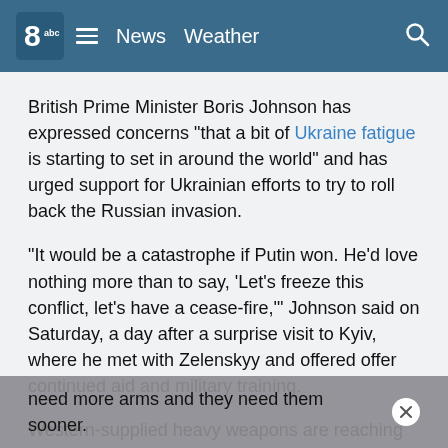8abc News Weather
British Prime Minister Boris Johnson has expressed concerns "that a bit of Ukraine fatigue is starting to set in around the world" and has urged support for Ukrainian efforts to try to roll back the Russian invasion.
"It would be a catastrophe if Putin won. He'd love nothing more than to say, 'Let's freeze this conflict, let's have a cease-fire,'" Johnson said on Saturday, a day after a surprise visit to Kyiv, where he met with Zelenskyy and offered offer continued aid and military training.
Western-supplied heavy weapons are reaching front lines. But Ukraine's leaders have insisted for weeks that they need more arms and they need them sooner.